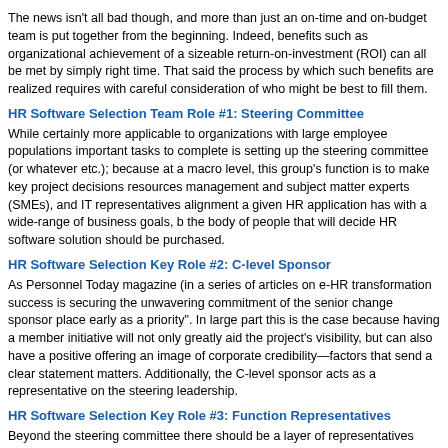The news isn't all bad though, and more than just an on-time and on-budget team is put together from the beginning. Indeed, benefits such as organizational achievement of a sizeable return-on-investment (ROI) can all be met by simply right time. That said the process by which such benefits are realized requires with careful consideration of who might be best to fill them.
HR Software Selection Team Role #1: Steering Committee
While certainly more applicable to organizations with large employee populations important tasks to complete is setting up the steering committee (or whatever etc.); because at a macro level, this group's function is to make key project decisions resources management and subject matter experts (SMEs), and IT representatives alignment a given HR application has with a wide-range of business goals, b the body of people that will decide HR software solution should be purchased.
HR Software Selection Key Role #2: C-level Sponsor
As Personnel Today magazine (in a series of articles on e-HR transformation success is securing the unwavering commitment of the senior change sponsor place early as a priority". In large part this is the case because having a member initiative will not only greatly aid the project's visibility, but can also have a positive offering an image of corporate credibility—factors that send a clear statement matters. Additionally, the C-level sponsor acts as a representative on the steering leadership.
HR Software Selection Key Role #3: Function Representatives
Beyond the steering committee there should be a layer of representatives from departments (e.g. sales, marketing, distribution, warehouse, etc.) depending key project contacts, helping to gather and disseminate information to the wider formally defined, it is critical that they exist in order to feed specific concerns selection decision-making process.